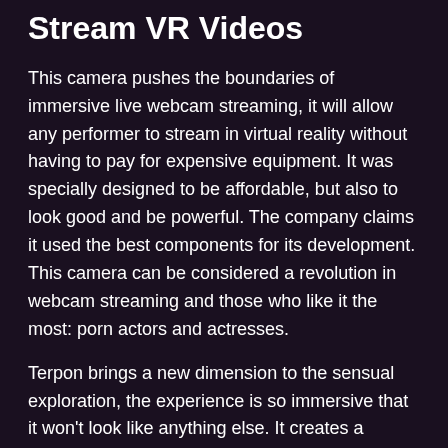Stream VR Videos
This camera pushes the boundaries of immersive live webcam streaming, it will allow any performer to stream in virtual reality without having to pay for expensive equipment. It was specially designed to be affordable, but also to look good and be powerful. The company claims it used the best components for its development. This camera can be considered a revolution in webcam streaming and those who like it the most: porn actors and actresses.
Terpon brings a new dimension to the sensual exploration, the experience is so immersive that it won't look like anything else. It creates a distinctive feeling of closeness and intimacy for viewers that regular 2D videos can't replicate. This innovative line of products is backed by millions in investments and the best components.